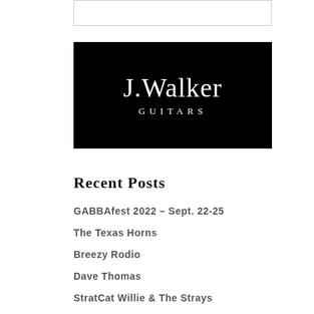[Figure (logo): J. Walker Guitars logo — white text on black background. Large serif text reads 'J. Walker' and below in spaced capitals 'GUITARS'.]
Recent Posts
GABBAfest 2022 – Sept. 22-25
The Texas Horns
Breezy Rodio
Dave Thomas
StratCat Willie & The Strays